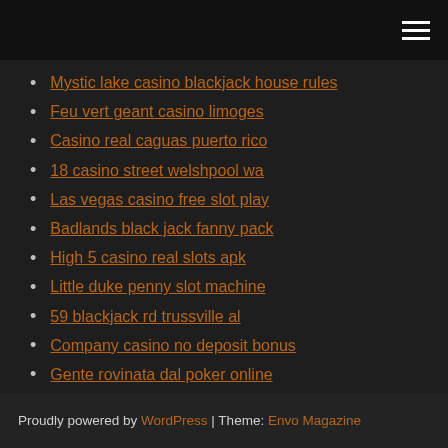[hamburger menu icon]
Mystic lake casino blackjack house rules
Feu vert geant casino limoges
Casino real caguas puerto rico
18 casino street welshpool wa
Las vegas casino free slot play
Badlands black jack fanny pack
High 5 casino real slots apk
Little duke penny slot machine
59 blackjack rd trussville al
Company casino no deposit bonus
Gente rovinata dal poker online
Proudly powered by WordPress | Theme: Envo Magazine